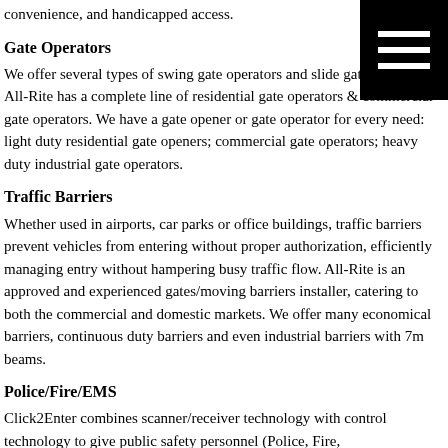convenience, and handicapped access.
[Figure (other): Black square icon with three white horizontal lines (hamburger menu icon)]
Gate Operators
We offer several types of swing gate operators and slide gate operators. All-Rite has a complete line of residential gate operators & commercial gate operators. We have a gate opener or gate operator for every need: light duty residential gate openers; commercial gate operators; heavy duty industrial gate operators.
Traffic Barriers
Whether used in airports, car parks or office buildings, traffic barriers prevent vehicles from entering without proper authorization, efficiently managing entry without hampering busy traffic flow. All-Rite is an approved and experienced gates/moving barriers installer, catering to both the commercial and domestic markets. We offer many economical barriers, continuous duty barriers and even industrial barriers with 7m beams.
Police/Fire/EMS
Click2Enter combines scanner/receiver technology with control technology to give public safety personnel (Police, Fire, Ambulance/Rescue, or any